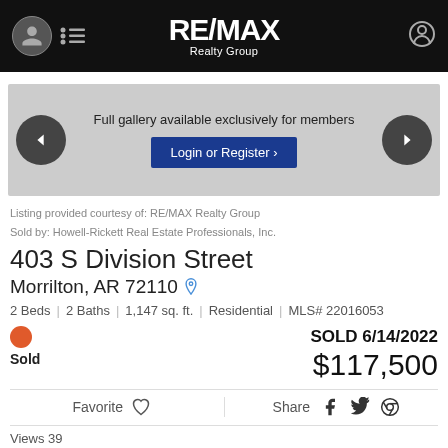RE/MAX Realty Group
[Figure (screenshot): Gallery image placeholder with Login or Register button - Full gallery available exclusively for members]
Listing provided courtesy of: RE/MAX Realty Group
Sold by: Howell-Rickett Real Estate Professionals, Inc.
403 S Division Street
Morrilton, AR 72110
2 Beds | 2 Baths | 1,147 sq. ft. | Residential | MLS# 22016053
SOLD 6/14/2022
$117,500
Sold
Favorite  Share